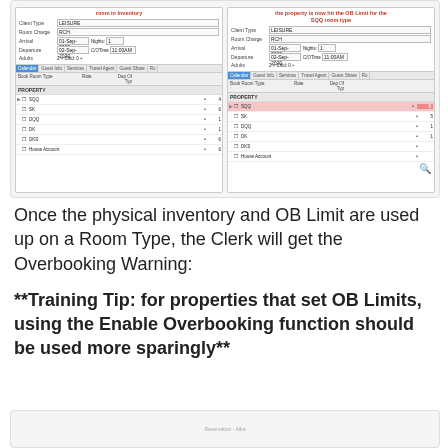[Figure (screenshot): Two side-by-side screenshots of a hotel reservation system showing room inventory panels. Left panel title in red: 'room in Inventory'. Right panel title in red: 'the property is now hit the OB Limit for the SQQ room type'. Both panels show Client Type: LEISURE, Room Charge: RCH, Arrival/Departure dates, and a room type list including SQQ, SK, DQQ, DK, DKS, House Account. Right panel shows SQQ row highlighted in pink/red.]
Once the physical inventory and OB Limit are used up on a Room Type, the Clerk will get the Overbooking Warning:
**Training Tip: for properties that set OB Limits, using the Enable Overbooking function should be used more sparingly**
[Figure (screenshot): Partial screenshot at bottom of page, partially visible, showing a dialog or form.]